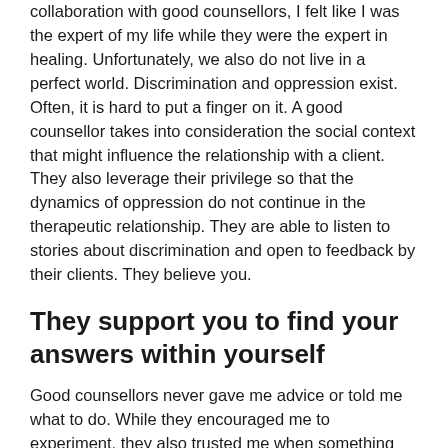collaboration with good counsellors, I felt like I was the expert of my life while they were the expert in healing. Unfortunately, we also do not live in a perfect world. Discrimination and oppression exist. Often, it is hard to put a finger on it. A good counsellor takes into consideration the social context that might influence the relationship with a client. They also leverage their privilege so that the dynamics of oppression do not continue in the therapeutic relationship. They are able to listen to stories about discrimination and open to feedback by their clients. They believe you.
They support you to find your answers within yourself
Good counsellors never gave me advice or told me what to do. While they encouraged me to experiment, they also trusted me when something did not work for me. It was a creative process that always respected my needs and helped me to